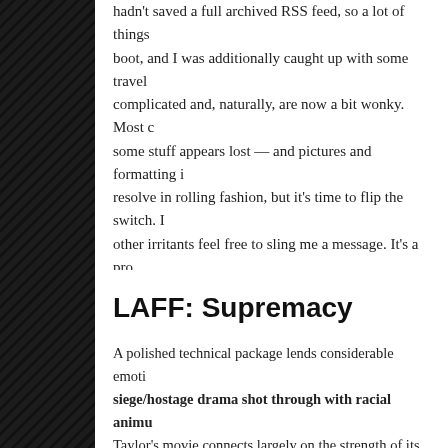hadn't saved a full archived RSS feed, so a lot of things needed to boot, and I was additionally caught up with some travel complications — complicated and, naturally, are now a bit wonky. Most content is back, some stuff appears lost — and pictures and formatting issues should resolve in rolling fashion, but it's time to flip the switch. If you spot other irritants feel free to sling me a message. It's a pro...
[Figure (other): Twitter Tweet button in blue rounded rectangle with bird icon]
LAFF: Supremacy
A polished technical package lends considerable emotional weight to this siege/hostage drama shot through with racial animosity. Taylor's movie connects largely on the strength of its so... a bit from muddled plotting and a dramatically diffuse en... Los Angeles Film Festival premiere, from ShockYa, click...